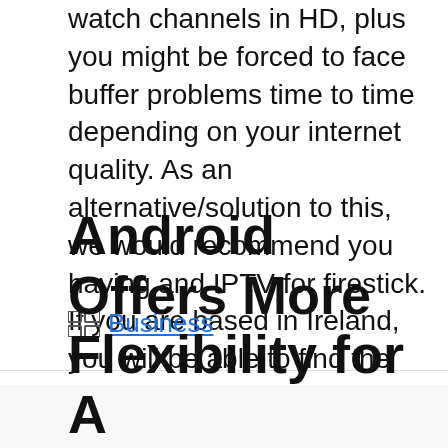watch channels in HD, plus you might be forced to face buffer problems time to time depending on your internet quality. As an alternative/solution to this, we would recommend you having and IPTV for firestick. If you are based in Ireland, you will be able to find the best iptv Ireland that would provide you more than 5500 worldwide channels. You will be able to enjoy 4K UHD buffer free channels on your TV.
Categories: Business
Android Offers More Flexibility for A...